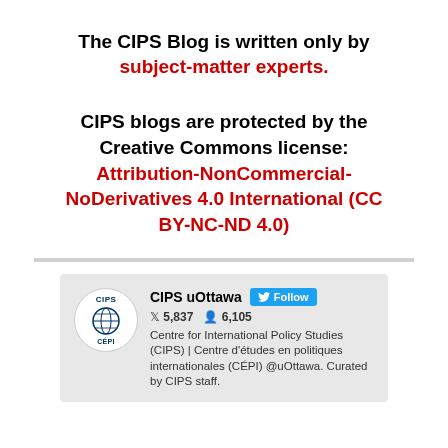The CIPS Blog is written only by subject-matter experts.
CIPS blogs are protected by the Creative Commons license: Attribution-NonCommercial-NoDerivatives 4.0 International (CC BY-NC-ND 4.0)
[Figure (screenshot): Twitter follow widget for CIPS uOttawa showing 5,837 tweets, 6,105 followers, and bio text about Centre for International Policy Studies.]